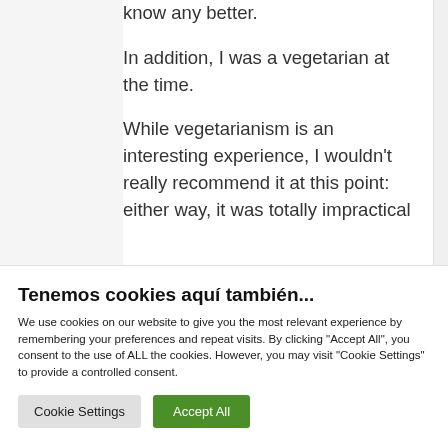know any better.
In addition, I was a vegetarian at the time.
While vegetarianism is an interesting experience, I wouldn't really recommend it at this point: either way, it was totally impractical
Tenemos cookies aquí también...
We use cookies on our website to give you the most relevant experience by remembering your preferences and repeat visits. By clicking "Accept All", you consent to the use of ALL the cookies. However, you may visit "Cookie Settings" to provide a controlled consent.